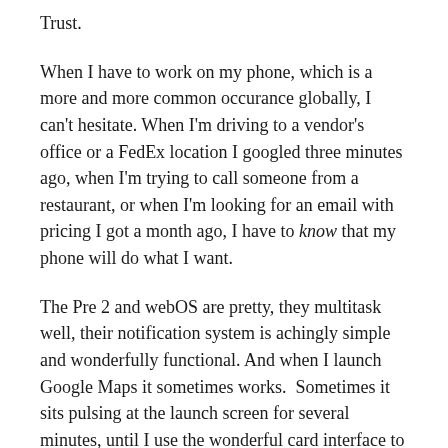Trust.
When I have to work on my phone, which is a more and more common occurance globally, I can't hesitate. When I'm driving to a vendor's office or a FedEx location I googled three minutes ago, when I'm trying to call someone from a restaurant, or when I'm looking for an email with pricing I got a month ago, I have to know that my phone will do what I want.
The Pre 2 and webOS are pretty, they multitask well, their notification system is achingly simple and wonderfully functional. And when I launch Google Maps it sometimes works.  Sometimes it sits pulsing at the launch screen for several minutes, until I use the wonderful card interface to go back to my email.  When I try to call someone from my bluetooth headset and realize that I have to find their information on the phone, because bluetooth voice dial